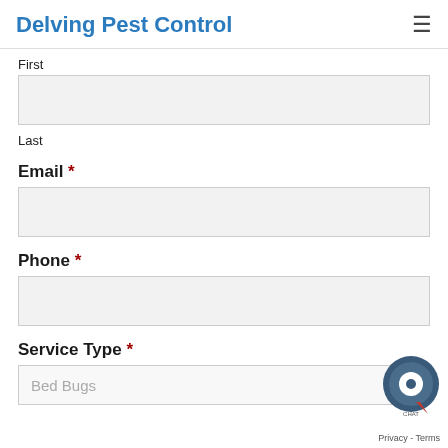Delving Pest Control
First
Last
Email *
Phone *
Service Type *
Bed Bugs